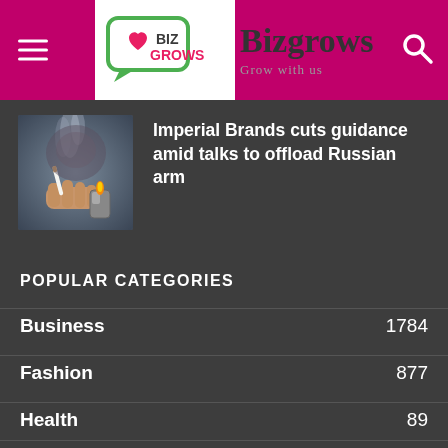Bizgrows — Grow with us
[Figure (photo): A person lighting a cigarette with a lighter, smoke visible, dark/grey background.]
Imperial Brands cuts guidance amid talks to offload Russian arm
POPULAR CATEGORIES
Business 1784
Fashion 877
Health 89
Tech 36